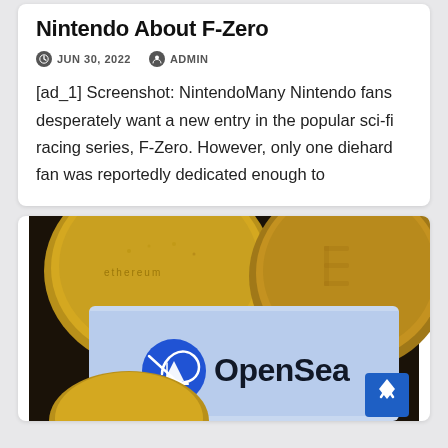Nintendo About F-Zero
JUN 30, 2022   ADMIN
[ad_1] Screenshot: NintendoMany Nintendo fans desperately want a new entry in the popular sci-fi racing series, F-Zero. However, only one diehard fan was reportedly dedicated enough to
[Figure (photo): Close-up photo of gold cryptocurrency coins (Bitcoin and Ethereum) resting on a smartphone screen showing the OpenSea logo — a blue circle with a white sailboat icon and the text 'OpenSea' in dark bold letters on a light blue background.]